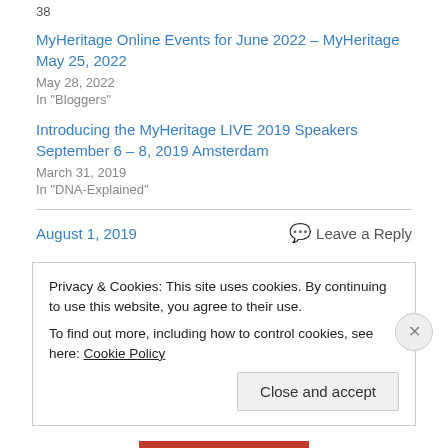38
MyHeritage Online Events for June 2022 – MyHeritage May 25, 2022
May 28, 2022
In "Bloggers"
Introducing the MyHeritage LIVE 2019 Speakers September 6 – 8, 2019 Amsterdam
March 31, 2019
In "DNA-Explained"
August 1, 2019
💬 Leave a Reply
Privacy & Cookies: This site uses cookies. By continuing to use this website, you agree to their use.
To find out more, including how to control cookies, see here: Cookie Policy
Close and accept